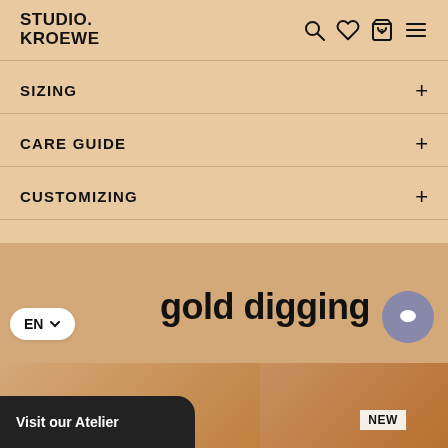STUDIO.KROEWE
SIZING
CARE GUIDE
CUSTOMIZING
Share this
gold digging
EN
Visit our Atelier
NEW